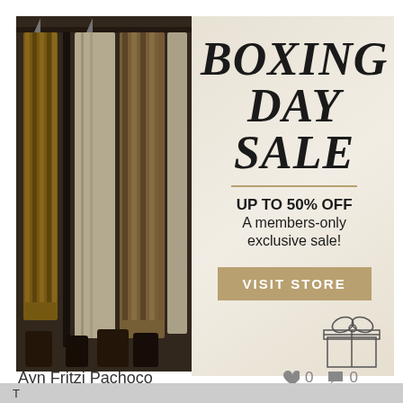[Figure (photo): Screenshot of a social media post showing a Boxing Day Sale advertisement. Left side has a photo of hanging fur/cream coats in a wardrobe. Right side has cream/beige background with bold italic text 'BOXING DAY SALE', a gold divider, 'UP TO 50% OFF A members-only exclusive sale!', a gold 'VISIT STORE' button, a gift box illustration, and a green 'Need Help?' vertical tab. Below the ad: author name 'Ayn Fritzi Pachoco' with 0 likes and 0 comments.]
Ayn Fritzi Pachoco
0  0